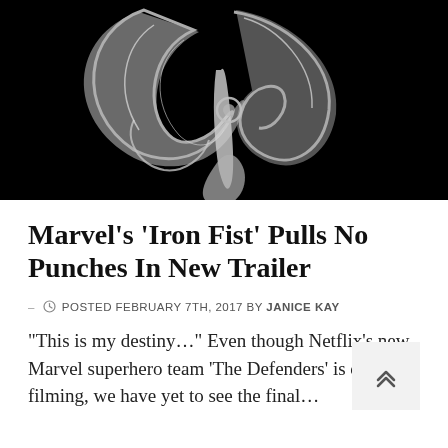[Figure (photo): Black and white photo of a metallic Iron Fist logo/medallion — a stylized fist with decorative curves on a black background]
Marvel's 'Iron Fist' Pulls No Punches In New Trailer
– POSTED FEBRUARY 7TH, 2017 BY JANICE KAY
“This is my destiny…” Even though Netflix’s new Marvel superhero team ‘The Defenders’ is currently filming, we have yet to see the final…